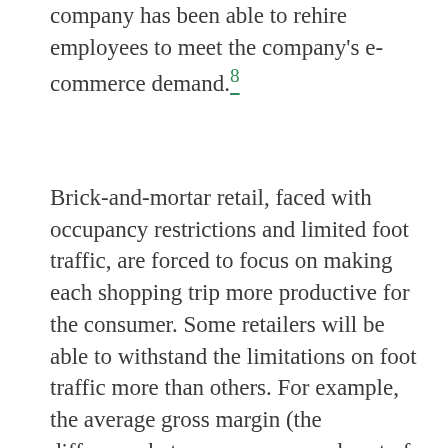company has been able to rehire employees to meet the company's e-commerce demand.8
Brick-and-mortar retail, faced with occupancy restrictions and limited foot traffic, are forced to focus on making each shopping trip more productive for the consumer. Some retailers will be able to withstand the limitations on foot traffic more than others. For example, the average gross margin (the difference between revenue and cost of goods sold divided by revenue) of clothing stores (46.2%) is higher than health and personal care stores (29.9%) by over 16%. Consequently, assuming a 50% decrease in foot traffic equates to a 50% decline in sales, a clothing stores will take a bigger hit than the personal care store in terms of